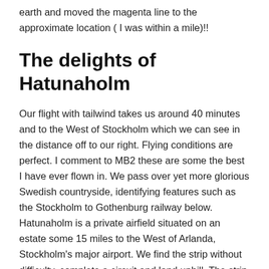earth and moved the magenta line to the approximate location ( I was within a mile)!!
The delights of Hatunaholm
Our flight with tailwind takes us around 40 minutes and to the West of Stockholm which we can see in the distance off to our right. Flying conditions are perfect. I comment to MB2 these are some the best I have ever flown in. We pass over yet more glorious Swedish countryside, identifying features such as the Stockholm to Gothenburg railway below.  Hatunaholm is a private airfield situated on an estate some 15 miles to the West of Arlanda, Stockholm's major airport. We find the strip without difficulty, complete a circuit and land uphill. The strip is on distinct slope (reminds one of the ski ramps used by Harriers !!) Another perfect landing ( MB2 filmed that one). and taxi to the hangars which all appear to be open but no one is around. We look for someone so we can announce our arrival. As we start to explore the hangars, Hakan Wijkander the estate's owner arrives in a 4×4 coming to a halt in a